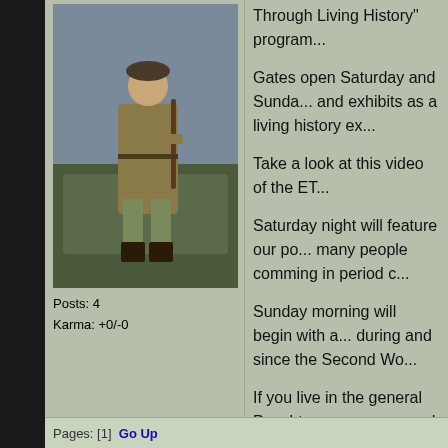[Figure (photo): A person in WWII-era military uniform sitting on or next to a military vehicle, wearing a beret and holding a rifle]
Posts: 4
Karma: +0/-0
Through Living History" program...
Gates open Saturday and Sunda... and exhibits as a living history ex...
Take a look at this video of the ET...
Saturday night will feature our po... many people comming in period c...
Sunday morning will begin with a... during and since the Second Wo...
If you live in the general Peachtre... you come and join us. If you wou... there, take a look at the gallery o...
If you would like to volunteer to h...
Take a minute while you're surfin...
Pages: [1]  Go Up